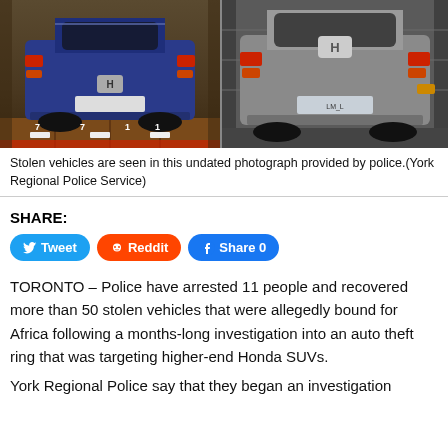[Figure (photo): Two stolen Honda CRV SUVs photographed inside shipping containers. Left: blue/dark blue Honda CRV rear view inside a wooden-floored container. Right: silver Honda CRV rear view inside a metal shipping container.]
Stolen vehicles are seen in this undated photograph provided by police.(York Regional Police Service)
SHARE:
TORONTO – Police have arrested 11 people and recovered more than 50 stolen vehicles that were allegedly bound for Africa following a months-long investigation into an auto theft ring that was targeting higher-end Honda SUVs.
York Regional Police say that they began an investigation